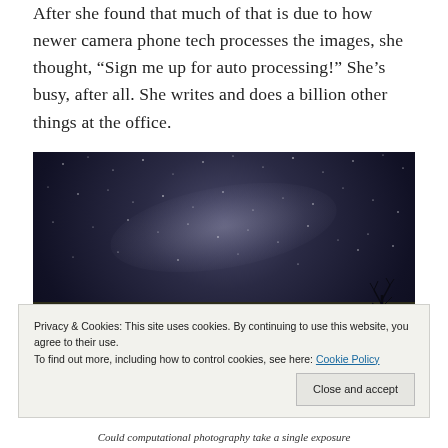After she found that much of that is due to how newer camera phone tech processes the images, she thought, “Sign me up for auto processing!” She’s busy, after all. She writes and does a billion other things at the office.
[Figure (photo): Night sky photograph showing the Milky Way galaxy above two sandy/rocky square-shaped formations on the ground, with a bare tree silhouette visible on the right side.]
Privacy & Cookies: This site uses cookies. By continuing to use this website, you agree to their use.
To find out more, including how to control cookies, see here: Cookie Policy
Could computational photography take a single exposure